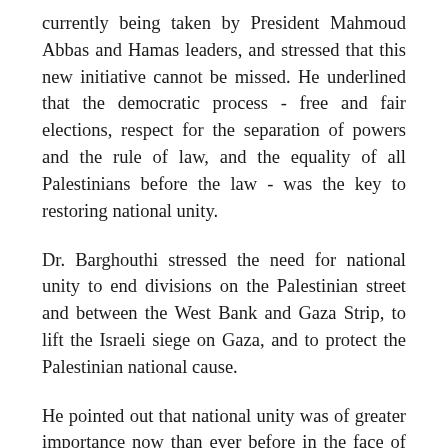currently being taken by President Mahmoud Abbas and Hamas leaders, and stressed that this new initiative cannot be missed. He underlined that the democratic process - free and fair elections, respect for the separation of powers and the rule of law, and the equality of all Palestinians before the law - was the key to restoring national unity.
Dr. Barghouthi stressed the need for national unity to end divisions on the Palestinian street and between the West Bank and Gaza Strip, to lift the Israeli siege on Gaza, and to protect the Palestinian national cause.
He pointed out that national unity was of greater importance now than ever before in the face of increased Israeli military attacks since Annapolis, together with the ongoing siege on Gaza, the continued expansion of settlements and construction of the Apartheid Wall, and in light of recent threats by Israeli